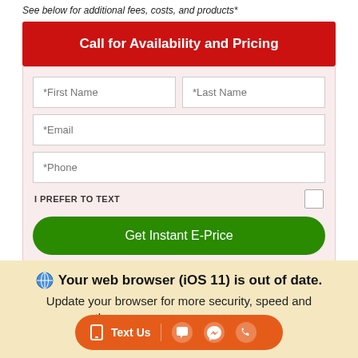See below for additional fees, costs, and products*
Call for Availability and Pricing
[Figure (screenshot): Web form with fields: *First Name, *Last Name, *Email, *Phone, I PREFER TO TEXT checkbox, and Get Instant E-Price green button]
Your web browser (iOS 11) is out of date. Update your browser for more security, speed and the best experience on this site.
Text Us